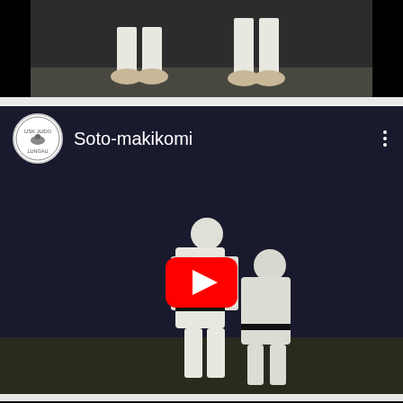[Figure (screenshot): Top portion of a YouTube video showing two judo practitioners in white gi, only their legs and feet visible against a dark background]
[Figure (screenshot): YouTube video thumbnail for 'Soto-makikomi' judo technique. Shows USK Judo Lungau channel logo (circular with judo figure), video title 'Soto-makikomi', three-dot menu icon, and a scene of two judoka in white gi performing the technique with a red YouTube play button overlay in the center.]
[Figure (screenshot): Bottom portion of a YouTube video for 'Judo - O-guruma' with a channel logo showing '1cuRyu / Judo' branding in orange and white text on dark background, and three-dot menu icon on the right.]